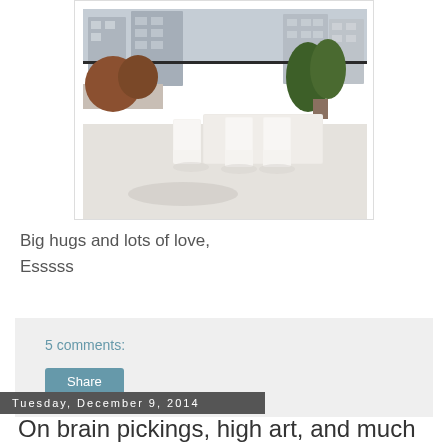[Figure (photo): Rooftop terrace with white outdoor dining table and chairs, planters with dried grasses and green shrubs, urban building skyline in background]
Big hugs and lots of love,
Esssss
5 comments:
Share
Tuesday, December 9, 2014
On brain pickings, high art, and much